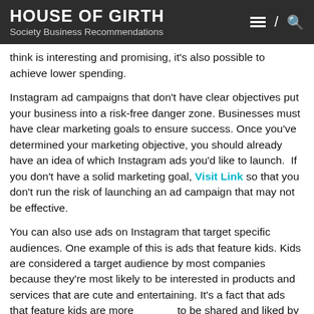HOUSE OF GIRTH
Society Business Recommendations
think is interesting and promising, it's also possible to achieve lower spending.
Instagram ad campaigns that don't have clear objectives put your business into a risk-free danger zone. Businesses must have clear marketing goals to ensure success. Once you've determined your marketing objective, you should already have an idea of which Instagram ads you'd like to launch. If you don't have a solid marketing goal, Visit Link so that you don't run the risk of launching an ad campaign that may not be effective.
You can also use ads on Instagram that target specific audiences. One example of this is ads that feature kids. Kids are considered a target audience by most companies because they're most likely to be interested in products and services that are cute and entertaining. It's a fact that ads that feature kids are more likely to be shared and liked by their parents than other ads. If you own a business that caters to this particular audience, it's a good idea to